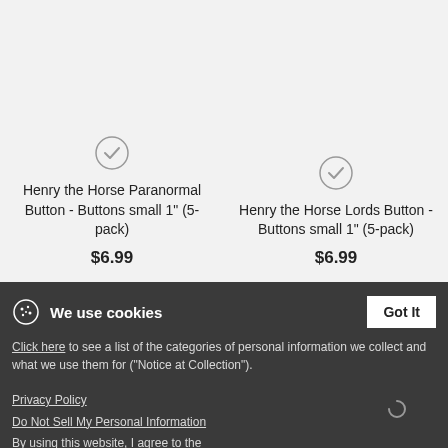Henry the Horse Paranormal Button - Buttons small 1" (5-pack)
$6.99
Henry the Horse Lords Button - Buttons small 1" (5-pack)
$6.99
We use cookies
Got It
Click here to see a list of the categories of personal information we collect and what we use them for ("Notice at Collection").
Privacy Policy
Do Not Sell My Personal Information
By using this website, I agree to the Terms and Conditions